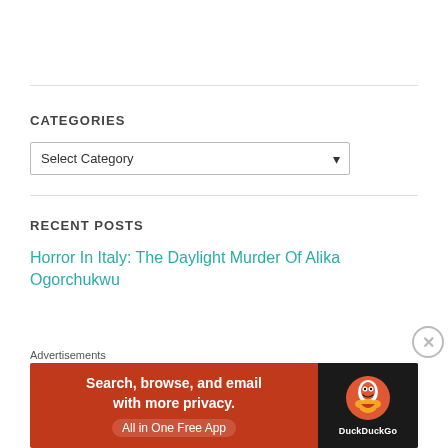CATEGORIES
Select Category
RECENT POSTS
Horror In Italy: The Daylight Murder Of Alika Ogorchukwu
[Figure (screenshot): DuckDuckGo advertisement banner: orange background with text 'Search, browse, and email with more privacy. All in One Free App' and DuckDuckGo duck logo on dark background]
Advertisements